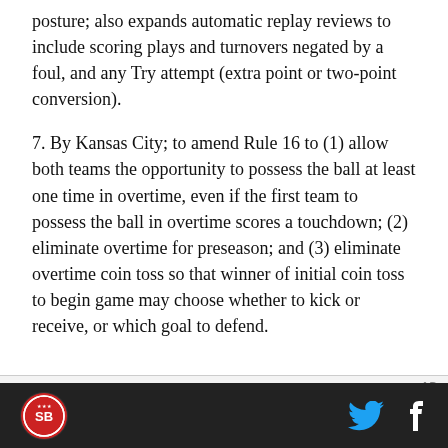posture; also expands automatic replay reviews to include scoring plays and turnovers negated by a foul, and any Try attempt (extra point or two-point conversion).
7. By Kansas City; to amend Rule 16 to (1) allow both teams the opportunity to possess the ball at least one time in overtime, even if the first team to possess the ball in overtime scores a touchdown; (2) eliminate overtime for preseason; and (3) eliminate overtime coin toss so that winner of initial coin toss to begin game may choose whether to kick or receive, or which goal to defend.
[Figure (other): Advertisement bar with 'AD' label in gray]
SB Nation logo, Twitter icon, Facebook icon